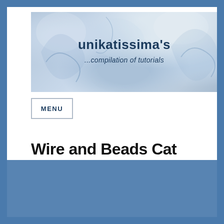[Figure (illustration): Website banner image showing polymer clay or ceramic art pieces in blue tones with swirl patterns. Text overlaid reads 'unikatissima's' and '...compilation of tutorials']
unikatissima's
...compilation of tutorials
MENU
Wire and Beads Cat
unikatissima uses cookies to ensure that you enjoy the website :)
Ok
Read more
Links of entry
[Figure (illustration): Partial bottom image showing a wire and beads cat figure in dark blue tones]